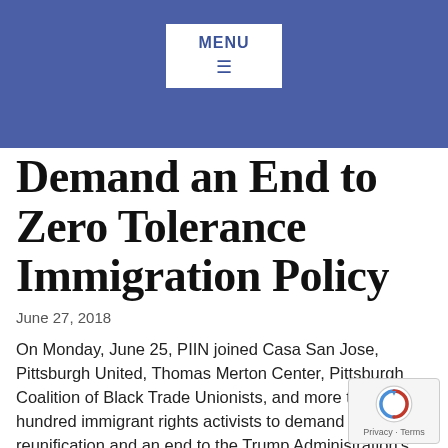MENU
Demand an End to Zero Tolerance Immigration Policy
June 27, 2018
On Monday, June 25, PIIN joined Casa San Jose, Pittsburgh United, Thomas Merton Center, Pittsburgh Coalition of Black Trade Unionists, and more than one hundred immigrant rights activists to demand family reunification and an end to the Trump Administration’s cruel zero tolerance immigration policy.
READ MORE >